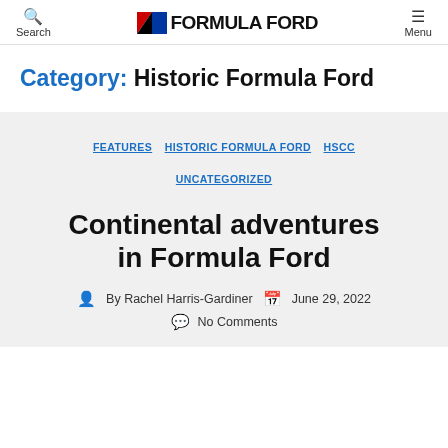Search | FORMULA FORD | Menu
Category: Historic Formula Ford
FEATURES  HISTORIC FORMULA FORD  HSCC  UNCATEGORIZED
Continental adventures in Formula Ford
By Rachel Harris-Gardiner  June 29, 2022  No Comments